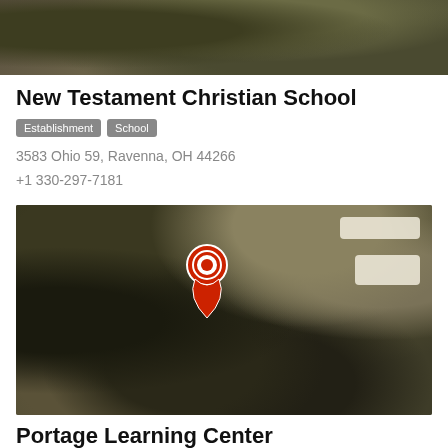[Figure (map): Satellite aerial view top portion, partial crop at top of page]
New Testament Christian School
Establishment  School
3583 Ohio 59, Ravenna, OH 44266
+1 330-297-7181
[Figure (map): Satellite aerial map view with red location pin marker over wooded/rural area, with small callout boxes in upper right]
Portage Learning Center